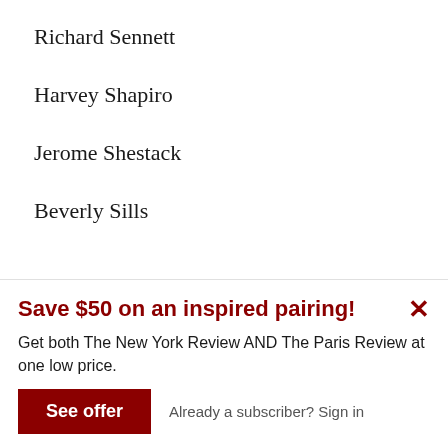Richard Sennett
Harvey Shapiro
Jerome Shestack
Beverly Sills
Save $50 on an inspired pairing!
Get both The New York Review AND The Paris Review at one low price.
See offer
Already a subscriber?  Sign in